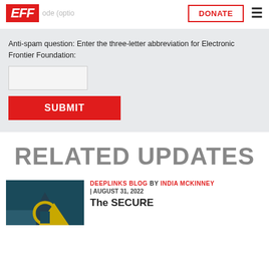EFF | ode (optional) | DONATE | ☰
Anti-spam question: Enter the three-letter abbreviation for Electronic Frontier Foundation:
[text input field]
SUBMIT
RELATED UPDATES
DEEPLINKS BLOG BY INDIA MCKINNEY | AUGUST 31, 2022
The SECURE